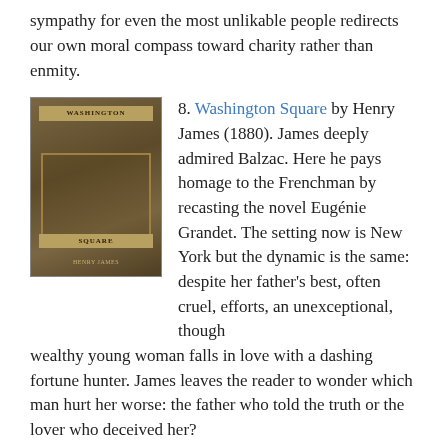sympathy for even the most unlikable people redirects our own moral compass toward charity rather than enmity.
8. Washington Square by Henry James (1880). James deeply admired Balzac. Here he pays homage to the Frenchman by recasting the novel Eugénie Grandet. The setting now is New York but the dynamic is the same: despite her father's best, often cruel, efforts, an unexceptional, though wealthy young woman falls in love with a dashing fortune hunter. James leaves the reader to wonder which man hurt her worse: the father who told the truth or the lover who deceived her?
[Figure (photo): Book cover of Washington Square]
9. The Remains of the Day by Kazuo Ishiguro (1989). During a car trip, Stevens —a career butler who has existed at once on the fringes and within the bird's nest of the British ruling class —reflects on his lifetime of service to the late Lord Darlington. Blinded by his devotion to "duty," he cannot admit
[Figure (photo): Book cover of The Remains of the Day by Kazuo Ishiguro]